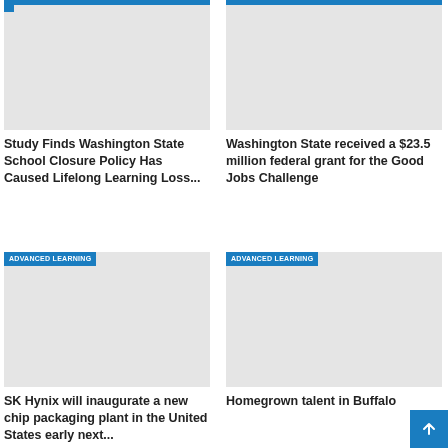[Figure (photo): Gray placeholder image for Washington State school closure article, top left, with blue category tag at top]
Study Finds Washington State School Closure Policy Has Caused Lifelong Learning Loss...
[Figure (photo): Gray placeholder image for Washington State federal grant article, top right, with blue category tag at top]
Washington State received a $23.5 million federal grant for the Good Jobs Challenge
[Figure (photo): Gray placeholder image for SK Hynix article, bottom left, with ADVANCED LEARNING blue category tag]
SK Hynix will inaugurate a new chip packaging plant in the United States early next...
[Figure (photo): Gray placeholder image for Homegrown talent article, bottom right, with ADVANCED LEARNING blue category tag]
Homegrown talent in Buffalo